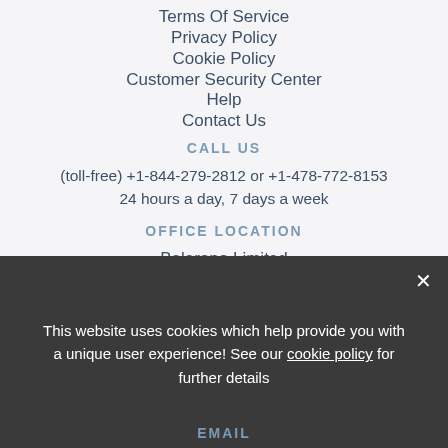Terms Of Service
Privacy Policy
Cookie Policy
Customer Security Center
Help
Contact Us
CALL US
(toll-free) +1-844-279-2812 or +1-478-772-8153
24 hours a day, 7 days a week
OFFICE LOCATION
Belerano Limited
34 Rifle Hill
Braintree
Essex
This website uses cookies which help provide you with a unique user experience! See our cookie policy for further details
EMAIL